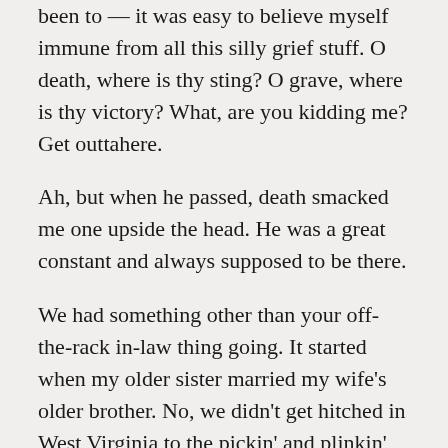been to — it was easy to believe myself immune from all this silly grief stuff. O death, where is thy sting? O grave, where is thy victory? What, are you kidding me? Get outtahere.
Ah, but when he passed, death smacked me one upside the head. He was a great constant and always supposed to be there.
We had something other than your off-the-rack in-law thing going. It started when my older sister married my wife's older brother. No, we didn't get hitched in West Virginia to the pickin' and plinkin' of banjos. As teens, the Mrs. Kelly and me were wallflowers who kept to ourselves and later were pushed into each other's paths. So I've known the guy, and the Mrs. for that matter, since age 10. He became a father figure to me after my father died when I was 14.